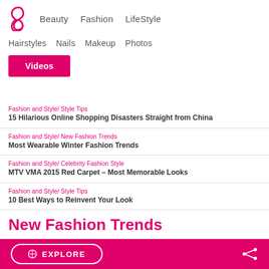Beauty  Fashion  LifeStyle  Hairstyles  Nails  Makeup  Photos  Videos
Fashion and Style/ Style Tips
15 Hilarious Online Shopping Disasters Straight from China
Fashion and Style/ New Fashion Trends
Most Wearable Winter Fashion Trends
Fashion and Style/ Celebrity Fashion Style
MTV VMA 2015 Red Carpet – Most Memorable Looks
Fashion and Style/ Style Tips
10 Best Ways to Reinvent Your Look
New Fashion Trends
EXPLORE